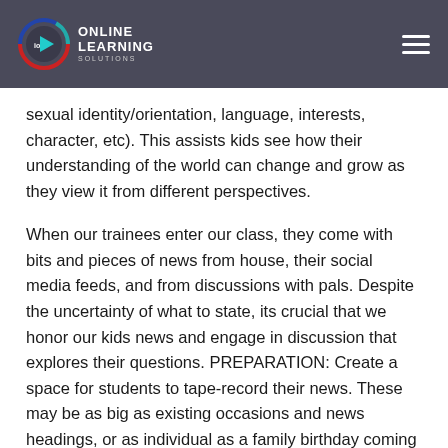ONLINE LEARNING
sexual identity/orientation, language, interests, character, etc). This assists kids see how their understanding of the world can change and grow as they view it from different perspectives.
When our trainees enter our class, they come with bits and pieces of news from house, their social media feeds, and from discussions with pals. Despite the uncertainty of what to state, its crucial that we honor our kids news and engage in discussion that explores their questions. PREPARATION: Create a space for students to tape-record their news. These may be as big as existing occasions and news headings, or as individual as a family birthday coming up or a trip to the vet with your family pet. SHARE YOUR NEWS: Whether the routine is done separately or as